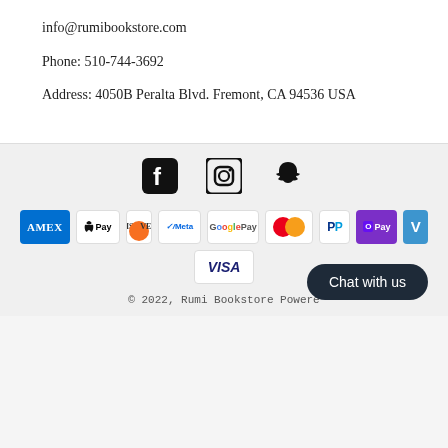info@rumibookstore.com
Phone: 510-744-3692
Address: 4050B Peralta Blvd. Fremont, CA 94536 USA
[Figure (infographic): Social media icons: Facebook, Instagram, Snapchat]
[Figure (infographic): Payment method badges: American Express, Apple Pay, Discover, Meta Pay, Google Pay, Mastercard, PayPal, OPay, Venmo, Visa]
© 2022, Rumi Bookstore Powered ...